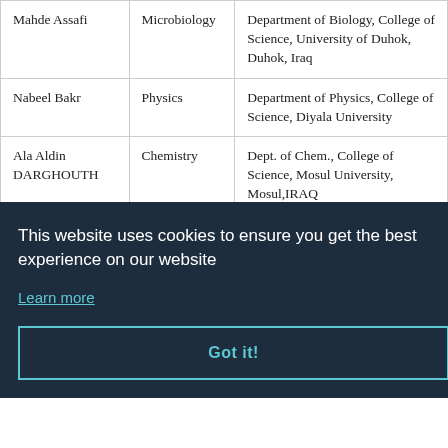| Name | Specialization | Affiliation |
| --- | --- | --- |
| Mahde Assafi | Microbiology | Department of Biology, College of Science, University of Duhok, Duhok, Iraq |
| Nabeel Bakr | Physics | Department of Physics, College of Science, Diyala University |
| Ala Aldin DARGHOUTH | Chemistry | Dept. of Chem., College of Science, Mosul University, Mosul,IRAQ |
| (partially visible) | (partially visible) | (partially visible) |
| Atef El-Taher | Nuclear | Department of Physics |
This website uses cookies to ensure you get the best experience on our website
Learn more
Got it!